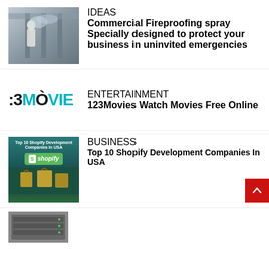[Figure (photo): Person applying fireproofing spray to structural columns in a building]
IDEAS
Commercial Fireproofing spray Specially designed to protect your business in uninvited emergencies
[Figure (logo): 123MOVIE logo in teal/dark color]
ENTERTAINMENT
123Movies Watch Movies Free Online
[Figure (photo): Top 10 Shopify Development Companies In USA with Shopify logo and shopping bags]
BUSINESS
Top 10 Shopify Development Companies In USA
[Figure (photo): Server tower hardware photo at bottom]